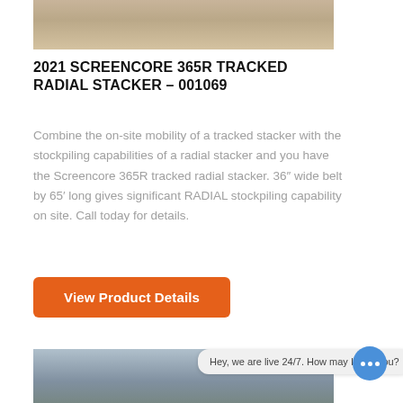[Figure (photo): Top partial photo of a surface, possibly a concrete or sand-colored ground, cropped at top of page]
2021 SCREENCORE 365R TRACKED RADIAL STACKER – 001069
Combine the on-site mobility of a tracked stacker with the stockpiling capabilities of a radial stacker and you have the Screencore 365R tracked radial stacker. 36" wide belt by 65' long gives significant RADIAL stockpiling capability on site. Call today for details.
View Product Details
[Figure (photo): Bottom partial photo showing an industrial facility or yard under a cloudy sky, with trees and buildings visible]
Hey, we are live 24/7. How may I help you?